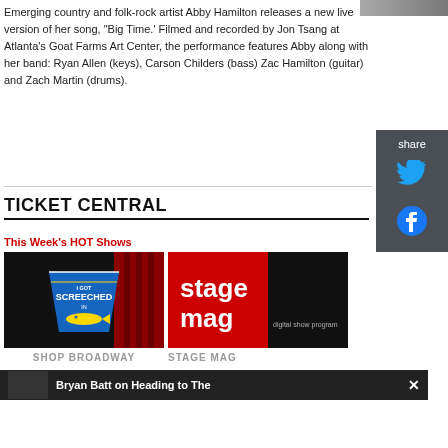[Figure (photo): Partial photo visible in top-right corner]
Emerging country and folk-rock artist Abby Hamilton releases a new live version of her song, "Big Time.' Filmed and recorded by Jon Tsang at Atlanta's Goat Farms Art Center, the performance features Abby along with her band: Ryan Allen (keys), Carson Childers (bass) Zac Hamilton (guitar) and Zach Martin (drums).
TICKET CENTRAL
This Week's HOT Shows
[Figure (photo): I Got Screeched In souvenir cup advertisement on black background with red curtain]
[Figure (photo): Stage Mag digital show program advertisement - red and black background with white text]
SHOP BROADWAY
STAGE MAG
Bryan Batt on Heading to The